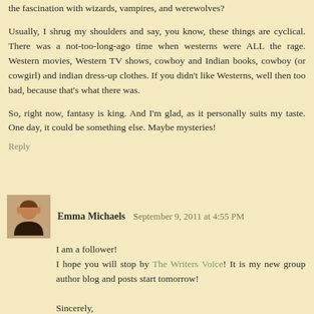the fascination with wizards, vampires, and werewolves?
Usually, I shrug my shoulders and say, you know, these things are cyclical. There was a not-too-long-ago time when westerns were ALL the rage. Western movies, Western TV shows, cowboy and Indian books, cowboy (or cowgirl) and indian dress-up clothes. If you didn't like Westerns, well then too bad, because that's what there was.
So, right now, fantasy is king. And I'm glad, as it personally suits my taste. One day, it could be something else. Maybe mysteries!
Reply
Emma Michaels September 9, 2011 at 4:55 PM
I am a follower!
I hope you will stop by The Writers Voice! It is my new group author blog and posts start tomorrow!

Sincerely,
Emma Michaels